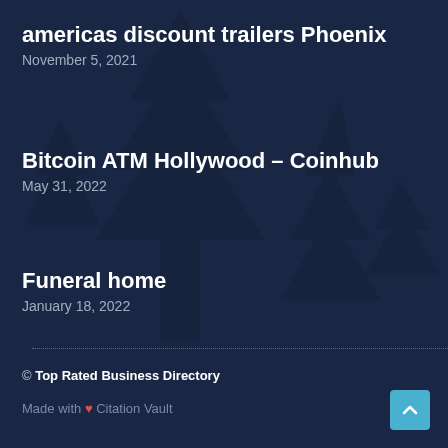americas discount trailers Phoenix
November 5, 2021
Bitcoin ATM Hollywood – Coinhub
May 31, 2022
Funeral home
January 18, 2022
© Top Rated Business Directory
Made with ❤ Citation Vault